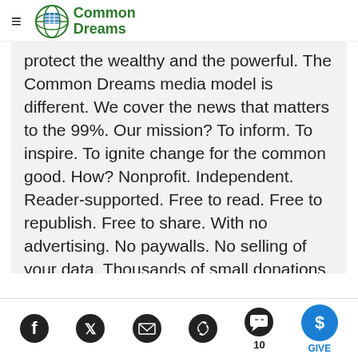Common Dreams
protect the wealthy and the powerful. The Common Dreams media model is different. We cover the news that matters to the 99%. Our mission? To inform. To inspire. To ignite change for the common good. How? Nonprofit. Independent. Reader-supported. Free to read. Free to republish. Free to share. With no advertising. No paywalls. No selling of your data. Thousands of small donations fund our newsroom and allow us to continue
Facebook Twitter Email Link Comments 10 GIVE